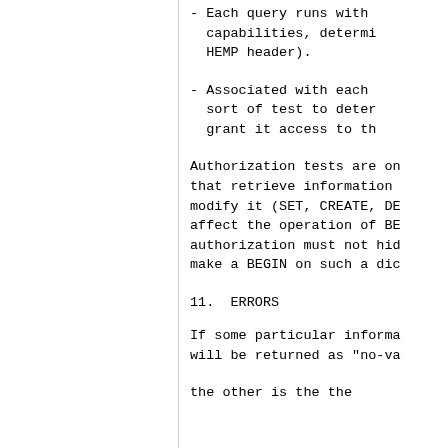- Each query runs with capabilities, determined by HEMP header).
- Associated with each sort of test to determine grant it access to the
Authorization tests are on that retrieve information modify it (SET, CREATE, DE affect the operation of BE authorization must not hid make a BEGIN on such a dic
11.  ERRORS
If some particular informa will be returned as "no-va
the other is the the